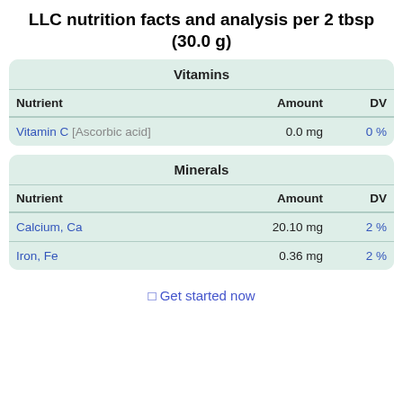LLC nutrition facts and analysis per 2 tbsp (30.0 g)
| Nutrient | Amount | DV |
| --- | --- | --- |
| Vitamin C [Ascorbic acid] | 0.0 mg | 0 % |
| Nutrient | Amount | DV |
| --- | --- | --- |
| Calcium, Ca | 20.10 mg | 2 % |
| Iron, Fe | 0.36 mg | 2 % |
⬜ Get started now